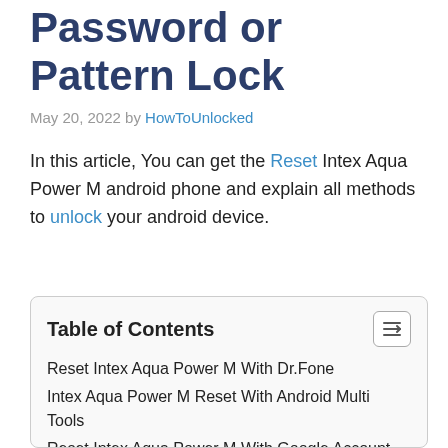Password or Pattern Lock
May 20, 2022 by HowToUnlocked
In this article, You can get the Reset Intex Aqua Power M android phone and explain all methods to unlock your android device.
Table of Contents
Reset Intex Aqua Power M With Dr.Fone
Intex Aqua Power M Reset With Android Multi Tools
Reset Intex Aqua Power M With Google Account
Hard Reset Intex Aqua Power M Phone
Unlock With Google Find My Device